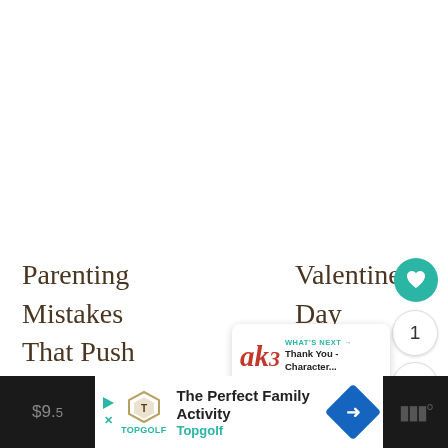Parenting Mistakes That Push Your Kids Away
Valentine's Day Coupon Book
$0.00
[Figure (other): What's Next promotional widget showing a handwritten-style logo and text 'Thank You - Character...']
The Perfect Family Activity Topgolf [advertisement bar]